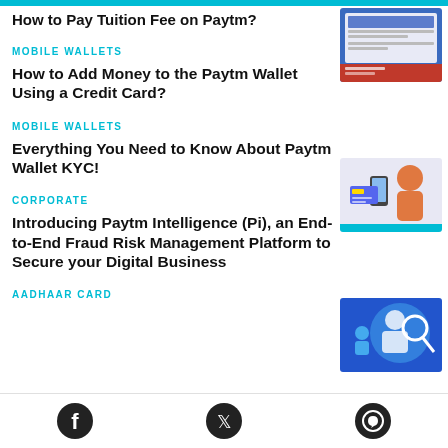How to Pay Tuition Fee on Paytm?
MOBILE WALLETS
How to Add Money to the Paytm Wallet Using a Credit Card?
MOBILE WALLETS
Everything You Need to Know About Paytm Wallet KYC!
CORPORATE
Introducing Paytm Intelligence (Pi), an End-to-End Fraud Risk Management Platform to Secure your Digital Business
AADHAAR CARD
[Figure (screenshot): Thumbnail for Paytm tuition fee payment article]
[Figure (illustration): Thumbnail for Paytm wallet credit card article - woman with phone]
[Figure (illustration): Thumbnail for Paytm KYC article - blue background with person]
[Figure (screenshot): Thumbnail for Paytm Intelligence Pi article - introducing Pi branding]
[Figure (photo): Thumbnail for Aadhaar Card article - partial yellow]
[Figure (logo): Facebook social icon]
[Figure (logo): Twitter social icon]
[Figure (logo): WhatsApp social icon]